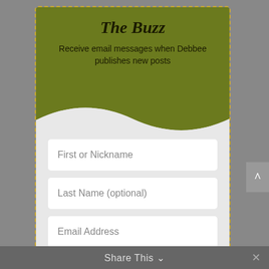The Buzz
Receive email messages when Debbee publishes new posts
First or Nickname
Last Name (optional)
Email Address
Sign-up!
Your information will not be shared
Share This